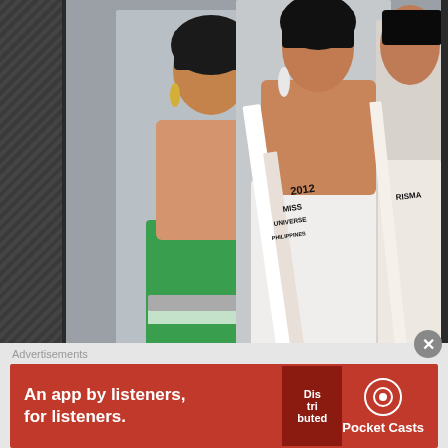[Figure (photo): Photo of three beauty queens posing together. Center figure wears sash reading '2012 MISS UNIVERSE Philippines'. Left figure wears a green dress. Right figure partially visible with sash reading 'PRISMA'. Background is gray studio backdrop.]
Our 2012 Queens (L-R) Nicole Schmitz, Bb. Pilipinas-International; Ja Philippines and Katrina Dimaranan, Bb. Pilipinas-Tourism (Photo cr
Finally, the winners of Bb. Pilipinas 2012 have been crowned. Before I make my conclusion on the same, allow me to analyz landed the honors they are now celebrating in Cloud 9 wit
Advertisements
[Figure (infographic): Red advertisement banner for Pocket Casts app. Text reads 'An app by listeners, for listeners.' with Pocket Casts logo on the right and a phone image showing the app.]